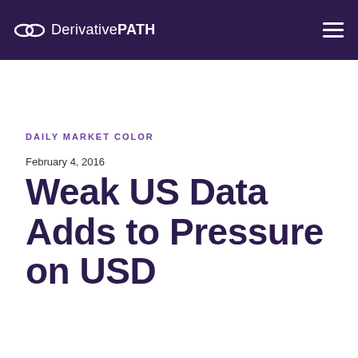DerivativePATH
DAILY MARKET COLOR
February 4, 2016
Weak US Data Adds to Pressure on USD